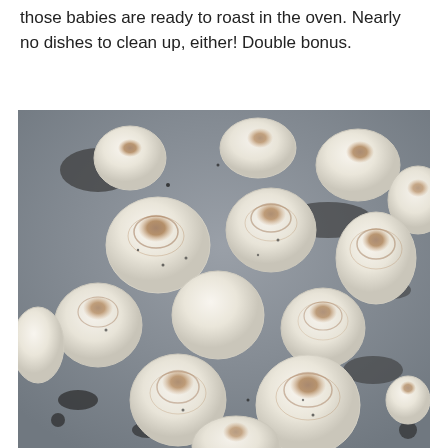those babies are ready to roast in the oven. Nearly no dishes to clean up, either! Double bonus.
[Figure (photo): Pearl onions seasoned with black pepper spread out on a baking sheet, showing their round white forms with brown roasted tops and olive oil pooled around them.]